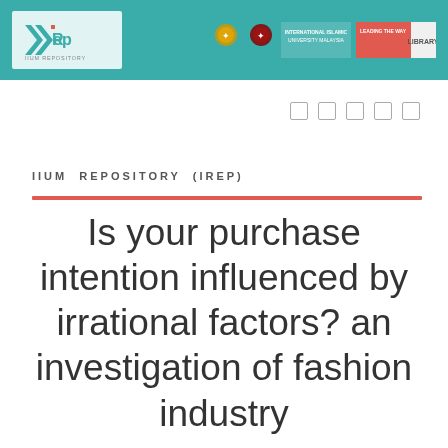[Figure (logo): IIUM Repository (IREP) header banner with teal background, IREP logo on left and university library logos on right]
IIUM REPOSITORY (IREP)
Is your purchase intention influenced by irrational factors? an investigation of fashion industry